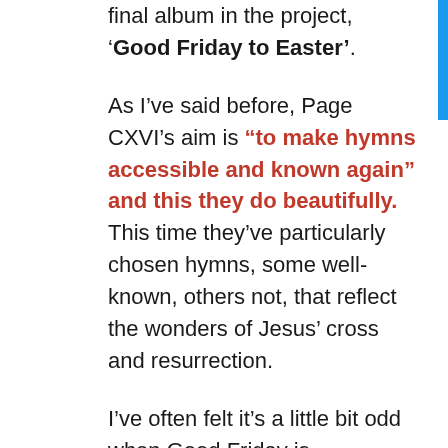final album in the project, 'Good Friday to Easter'.
As I've said before, Page CXVI's aim is "to make hymns accessible and known again" and this they do beautifully. This time they've particularly chosen hymns, some well-known, others not, that reflect the wonders of Jesus' cross and resurrection.
I've often felt it's a little bit odd when Good Friday is remembered in a way that seems to pretend Easter Sunday is still unknown, as if we're in the same position as those first disciples after it had happened to P...